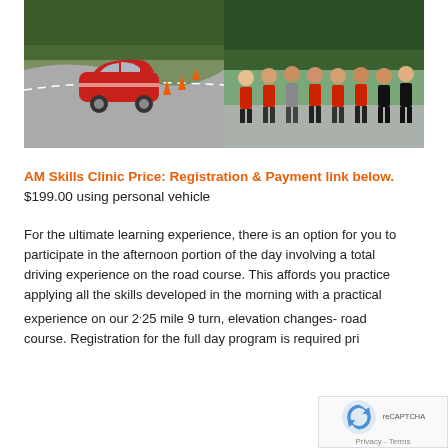[Figure (photo): Two side-by-side photos: left shows a red Mini Cooper on a road/autocross course with orange cones and trees in background; right shows a group of people in red and black shirts posing outdoors at a driving event.]
AM Skills Clinic Price: Registration & Payment link below.
$199.00 using personal vehicle
For the ultimate learning experience, there is an option for you to participate in the afternoon portion of the day involving a total driving experience on the road course. This affords you practice applying all the skills developed in the morning with a practical experience on our 2.25 mile 9 turn, elevation changes- road course. Registration for the full day program is required pri...